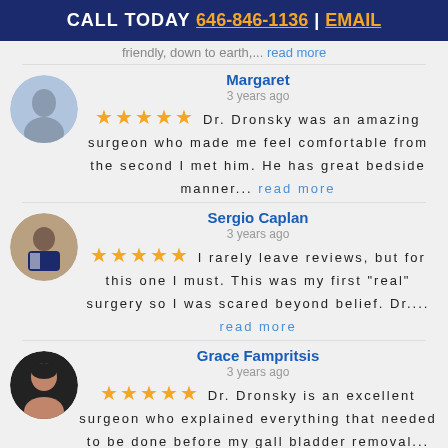CALL TODAY 646-846-1136 | EMAIL
friendly, down to earth,... read more
Margaret
3 years ago
★★★★★ Dr. Dronsky was an amazing surgeon who made me feel comfortable from the second I met him. He has great bedside manner... read more
Sergio Caplan
3 years ago
★★★★★ I rarely leave reviews, but for this one I must. This was my first "real" surgery so I was scared beyond belief. Dr.... read more
Grace Fampritsis
3 years ago
★★★★★ Dr. Dronsky is an excellent surgeon who explained everything that needed to be done before my gall bladder removal... read more
Darlene Dooley
4 years ago